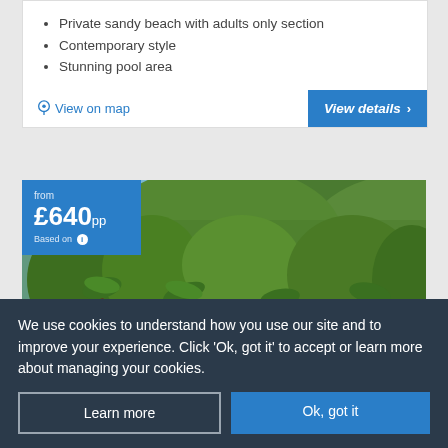Private sandy beach with adults only section
Contemporary style
Stunning pool area
View on map
View details ›
[Figure (photo): Aerial view of a luxury resort with swimming pool, tropical gardens, palm trees, and green hillside in the background. A blue price badge overlay shows 'from £640pp Based on ⓘ']
We use cookies to understand how you use our site and to improve your experience. Click 'Ok, got it' to accept or learn more about managing your cookies.
Learn more
Ok, got it